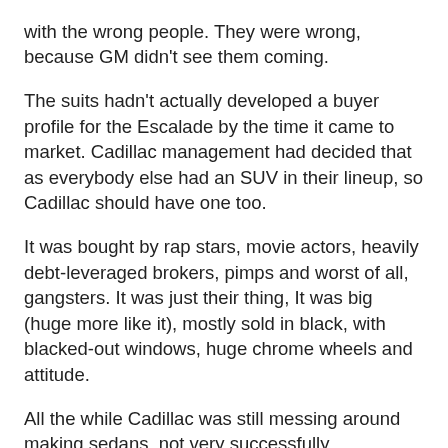with the wrong people. They were wrong, because GM didn't see them coming.
The suits hadn't actually developed a buyer profile for the Escalade by the time it came to market. Cadillac management had decided that as everybody else had an SUV in their lineup, so Cadillac should have one too.
It was bought by rap stars, movie actors, heavily debt-leveraged brokers, pimps and worst of all, gangsters. It was just their thing, It was big (huge more like it), mostly sold in black, with blacked-out windows, huge chrome wheels and attitude.
All the while Cadillac was still messing around making sedans, not very successfully.
They pushed out a smaller (not much), sportier (?) pseudo-Euro sedan called the STS-V. It was